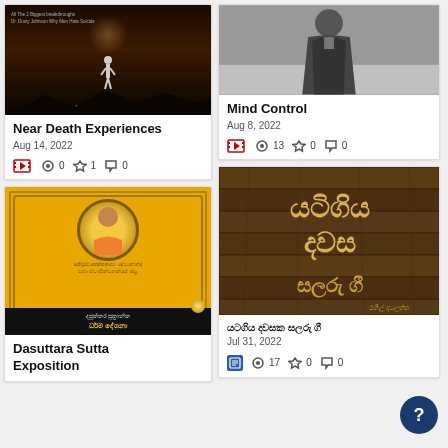[Figure (photo): Dark atmospheric movie poster with silhouetted figure]
Near Death Experiences
Aug 14, 2022
0 views, 1 star, 0 comments
[Figure (photo): Black and white photo of a man in suit]
Mind Control
Aug 8, 2022
13 views, 0 stars, 0 comments
[Figure (photo): Book cover - Dasuttara Sutta Exposition with monk photo on yellow background]
Dasuttara Sutta Exposition
[Figure (photo): Sinhala text on wooden background - යටගිය දවස සලරු ගී]
යටගිය දවස සලරු ගී
Jul 31, 2022
17 views, 0 stars, 0 comments